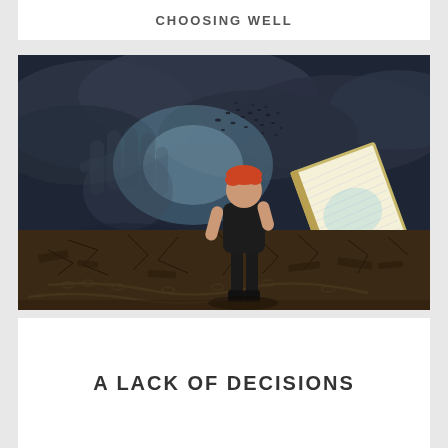CHOOSING WELL
[Figure (illustration): A dramatic fantasy-style illustration of a woman with short orange hair wearing a black dress and boots, standing in a dark apocalyptic landscape with cracked ground. She holds a glowing open book. Behind her is a large shadowy hand silhouette and dark stormy clouds with scattered particles.]
A LACK OF DECISIONS